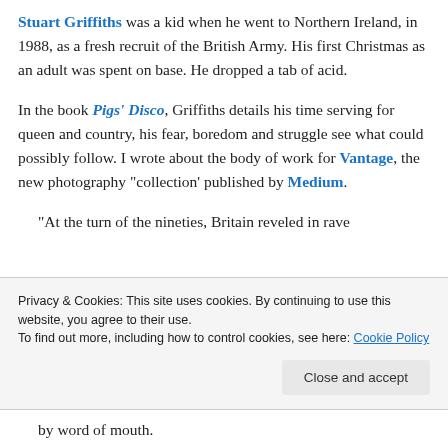Stuart Griffiths was a kid when he went to Northern Ireland, in 1988, as a fresh recruit of the British Army. His first Christmas as an adult was spent on base. He dropped a tab of acid.
In the book Pigs' Disco, Griffiths details his time serving for queen and country, his fear, boredom and struggle see what could possibly follow. I wrote about the body of work for Vantage, the new photography “collection’ published by Medium.
“At the turn of the nineties, Britain reveled in rave
Privacy & Cookies: This site uses cookies. By continuing to use this website, you agree to their use.
To find out more, including how to control cookies, see here: Cookie Policy
Close and accept
by word of mouth.